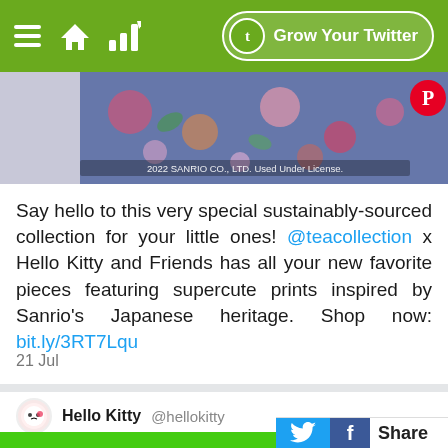Grow Your Twitter
[Figure (photo): Partial view of clothing/fabric with floral print pattern, with Pinterest badge overlay. Copyright text: 2022 SANRIO CO., LTD. Used Under License.]
Say hello to this very special sustainably-sourced collection for your little ones! @teacollection x Hello Kitty and Friends has all your new favorite pieces featuring supercute prints inspired by Sanrio's Japanese heritage. Shop now: bit.ly/3RT7Lqu
21 Jul
Hello Kitty @hellokitty
[Figure (photo): Partial illustration of Hello Kitty Friends cartoon characters on green and brown background with social share bar at bottom right.]